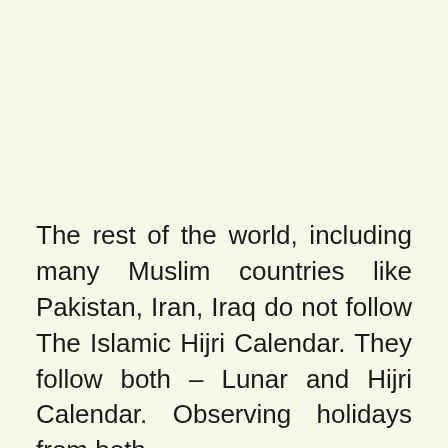The rest of the world, including many Muslim countries like Pakistan, Iran, Iraq do not follow The Islamic Hijri Calendar. They follow both – Lunar and Hijri Calendar. Observing holidays from both.
If you like exploring the cultures and traditions of other Islamic